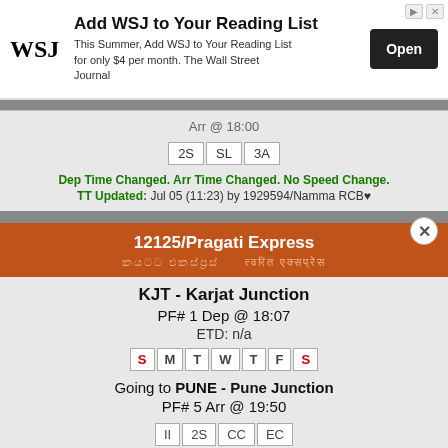[Figure (screenshot): WSJ advertisement banner with logo, headline 'Add WSJ to Your Reading List', body text, and Open button]
Arr @ 18:00
| 2S | SL | 3A |
Dep Time Changed. Arr Time Changed. No Speed Change.
TT Updated: Jul 05 (11:23) by 1929594/Namma RCB♥
12125/Pragati Express
KJT - Karjat Junction
PF# 1 Dep @ 18:07
ETD: n/a
S M T W T F S
Going to PUNE - Pune Junction
PF# 5 Arr @ 19:50
| II | 2S | CC | EC |
Dep Time Changed. Slowed down by: 1m. Src Changed.
TT Updated: Aug 16 (21:34) by 1604684/12187⬛ GR ⬛12188